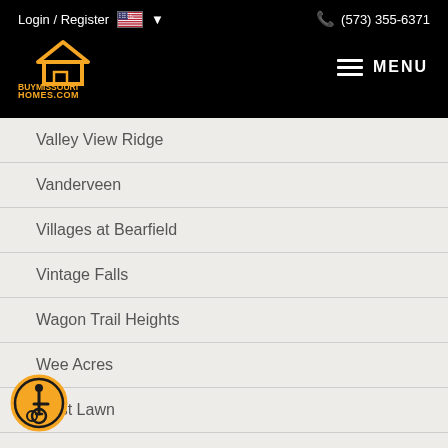Login / Register  (573) 355-6371
[Figure (logo): BuyMissouriHomes.com logo with house icon in gold/orange on black background, and MENU hamburger icon]
Valley View Ridge
Vanderveen
Villages at Bearfield
Vintage Falls
Wagon Trail Heights
Wee Acres
West Lawn
West Pointe
Westcliff
[Figure (illustration): Accessibility wheelchair icon badge in gold/orange circle]